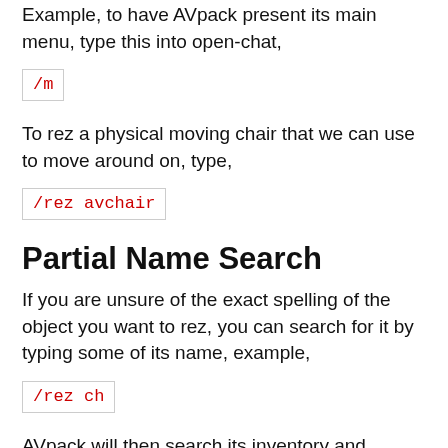Example, to have AVpack present its main menu, type this into open-chat,
To rez a physical moving chair that we can use to move around on, type,
Partial Name Search
If you are unsure of the exact spelling of the object you want to rez, you can search for it by typing some of its name, example,
AVpack will then search its inventory and present you with a dialog menu with the objects it found matching your search query,